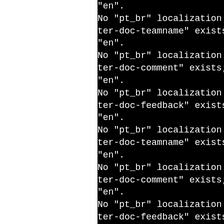"en".
No "pt_br" localization of ter-doc-teamname" exists; "en".
No "pt_br" localization of ter-doc-comment" exists; u "en".
No "pt_br" localization of ter-doc-feedback" exists; "en".
No "pt_br" localization of ter-doc-teamname" exists; "en".
No "pt_br" localization of ter-doc-comment" exists; u "en".
No "pt_br" localization of ter-doc-feedback" exists; "en".
No "pt_br" localization of ter-doc-teamname" exists; "en".
No "pt_br" localization of ter-doc-comment" exists;